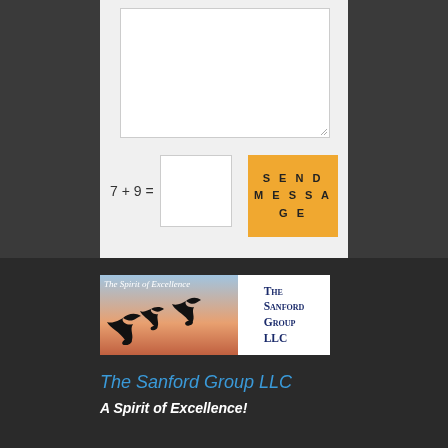[Figure (screenshot): Web form textarea with resize handle, partially visible at top of page]
[Figure (screenshot): CAPTCHA input field box]
[Figure (screenshot): Orange SEND MESSAGE button]
[Figure (logo): The Sanford Group LLC logo with eagles and 'The Spirit of Excellence' text over a sunset background]
The Sanford Group LLC
A Spirit of Excellence!